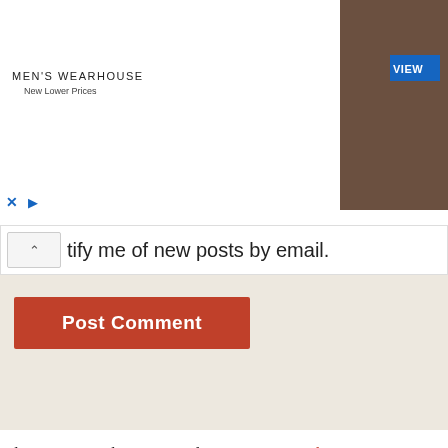[Figure (screenshot): Men's Wearhouse advertisement banner with couple in formal wear and VIEW button]
tify me of new posts by email.
[Figure (screenshot): Orange Post Comment button]
This site uses Akismet to reduce spam. Learn how your comment data is processed.
Support Dr John Messerly on Patreon!
[Figure (screenshot): Patreon BECOME A PATRON orange button]